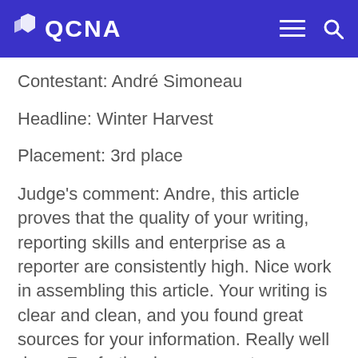QCNA
Contestant: André Simoneau
Headline: Winter Harvest
Placement: 3rd place
Judge's comment: Andre, this article proves that the quality of your writing, reporting skills and enterprise as a reporter are consistently high. Nice work in assembling this article. Your writing is clear and clean, and you found great sources for your information. Really well done. For further improvement...